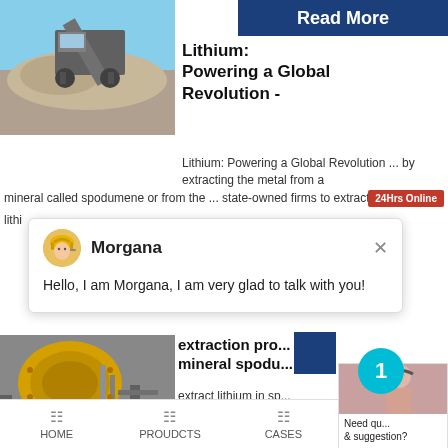[Figure (screenshot): Top blue Read More button/banner]
[Figure (photo): Mining crusher machine against blue sky and rubble]
Lithium: Powering a Global Revolution -
Lithium: Powering a Global Revolution ... by extracting the metal from a mineral called spodumene or from the ... state-owned firms to extract lithi
[Figure (screenshot): Chat popup with Morgana avatar and greeting message]
Morgana
Hello, I am Morgana, I am very glad to talk with you!
[Figure (photo): Industrial yellow mill/grinder equipment]
extraction pro... mineral spodu...
extract lithium in sp... mining application ...
[Figure (screenshot): Right-side chat widget with notification badge showing 1, Need question & suggestion, Chat Now, Enquiry, limingjlmofen buttons]
HOME
PROUDCTS
CASES
limingjlmofen